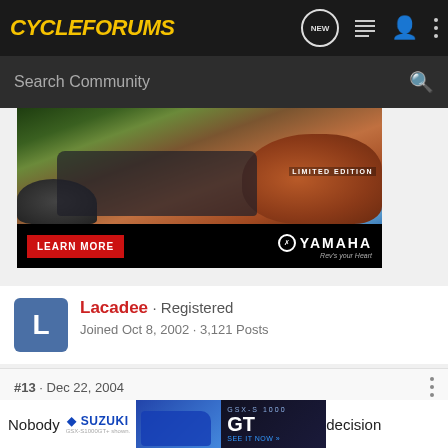CycleForums — navigation bar with logo, NEW, list, user, and menu icons
Search Community
[Figure (photo): Yamaha UTV (side-by-side) on red rocks in off-road terrain, with LIMITED EDITION text overlay, LEARN MORE red button, and Yamaha logo with Rev Your Heart slogan on black bottom bar]
Lacadee · Registered
Joined Oct 8, 2002 · 3,121 Posts
#13 · Dec 22, 2004
Nobody ... decision
[Figure (photo): Suzuki GSX-S1000 GT advertisement banner with blue motorcycle and GT branding with SEE IT NOW button]